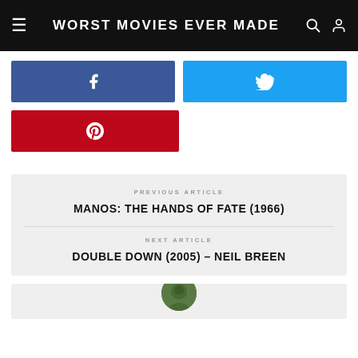WORST MOVIES EVER MADE
[Figure (other): Facebook share button (blue with f icon)]
[Figure (other): Twitter share button (light blue with bird icon)]
[Figure (other): Pinterest save button (red with P icon)]
PREVIOUS ARTICLE
MANOS: THE HANDS OF FATE (1966)
NEXT ARTICLE
DOUBLE DOWN (2005) – NEIL BREEN
[Figure (photo): Partial circular avatar photo at bottom of page]